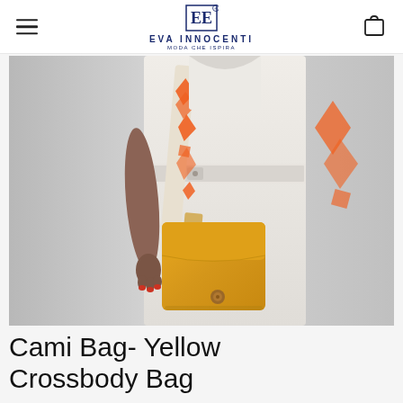EVA INNOCENTI — MODA CHE ISPIRA
[Figure (photo): A woman wearing a white belted jumpsuit and carrying a yellow leather crossbody bag (Cami Bag) with a colorful geometric patterned strap featuring orange and beige chevron/aztec designs.]
Cami Bag- Yellow Crossbody Bag